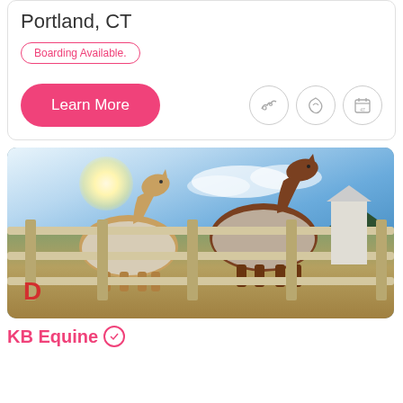Portland, CT
Boarding Available.
Learn More
[Figure (photo): Two horses wearing blankets standing behind a white wooden fence, backlit by bright sun in a blue sky with clouds, outdoor equestrian setting]
KB Equine